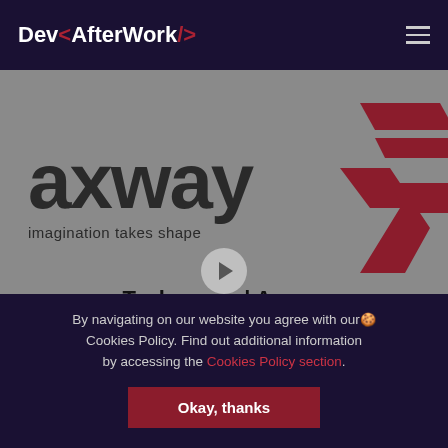Dev<AfterWork/>
[Figure (logo): Axway logo with text 'axway' in dark charcoal and red angular arrow/lightning bolt symbol, tagline 'imagination takes shape']
Tech a way | Axway
19 November, 2020
By navigating on our website you agree with our Cookies Policy. Find out additional information by accessing the Cookies Policy section.
Okay, thanks